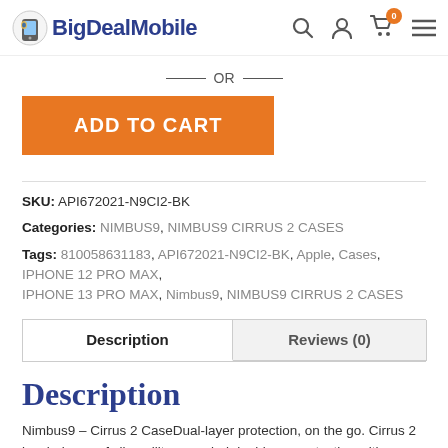BigDealMobile
— OR —
ADD TO CART
SKU: API672021-N9CI2-BK
Categories: NIMBUS9, NIMBUS9 CIRRUS 2 CASES
Tags: 810058631183, API672021-N9CI2-BK, Apple, Cases, IPHONE 12 PRO MAX, IPHONE 13 PRO MAX, Nimbus9, NIMBUS9 CIRRUS 2 CASES
Description
Reviews (0)
Description
Nimbus9 – Cirrus 2 CaseDual-layer protection, on the go. Cirrus 2 is a balance of slim military graded dual-layer protection with an